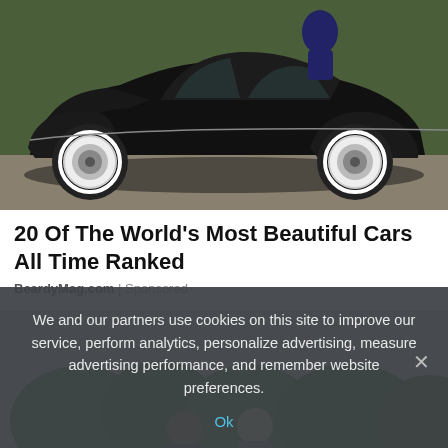[Figure (photo): Side profile of a classic black vintage car (1930s style) with white-wall tires, parked on a gravel surface with green background]
20 Of The World's Most Beautiful Cars All Time Ranked
BeardyMag.com | Sponsored
[Figure (photo): Two elderly people seen from behind, sitting outdoors with trees and sky in background]
We and our partners use cookies on this site to improve our service, perform analytics, personalize advertising, measure advertising performance, and remember website preferences.
Ok